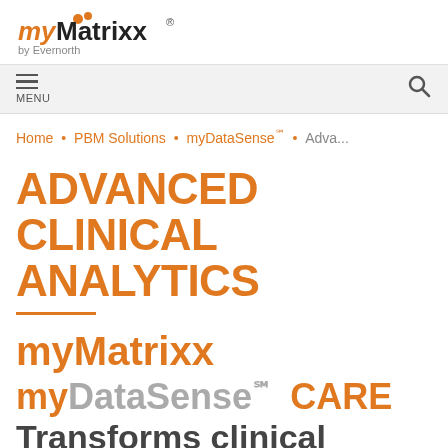[Figure (logo): myMatrixx by Evernorth logo — orange 'my' text with two orange dots, bold black 'Matrixx', and registered trademark symbol; 'by Evernorth' in small gray text below]
≡ MENU   🔍
Home • PBM Solutions • myDataSense℠ • Adva...
ADVANCED CLINICAL ANALYTICS
myMatrixx
myDataSense℠ CARE
Transforms clinical analytics